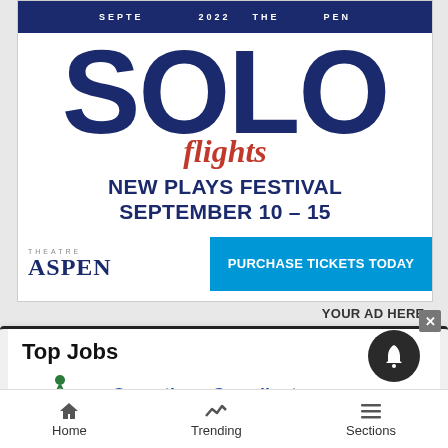[Figure (illustration): Theatre Aspen advertisement for SOLO flights New Plays Festival, September 10-15, with a blue header arc reading SEPTEMBER 2022, large SOLO letters in dark navy, 'flights' in red italic serif, festival dates in bold navy, Theatre Aspen logo and a blue 'PURCHASE TICKETS TODAY' button.]
YOUR AD HERE »
Top Jobs
[Figure (logo): Mountain Parks Electric, Inc. logo with skier figure]
Operations Coordinator
Mountain Parks Electric, Inc. (MPEI) is a non-profit electric...
Home   Trending   Sections